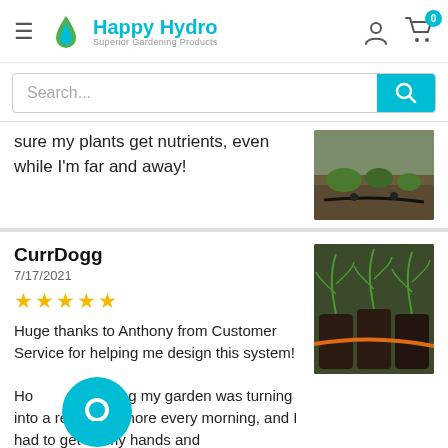Happy Hydro — Superior Gardening Products
Search...
sure my plants get nutrients, even while I'm far and away!
[Figure (photo): Close-up photo of drip irrigation lines in a garden pot with soil and plants]
CurrDogg
7/17/2021
★★★★★
Huge thanks to Anthony from Customer Service for helping me design this system!

Ho...ering my garden was turning into a really big chore every morning, and I had to get on my hands and
[Figure (photo): Photo of cannabis plants growing in black fabric pots with an orange drip irrigation hose]
[Figure (illustration): Blue circular chat/support widget icon overlaid on the review text]